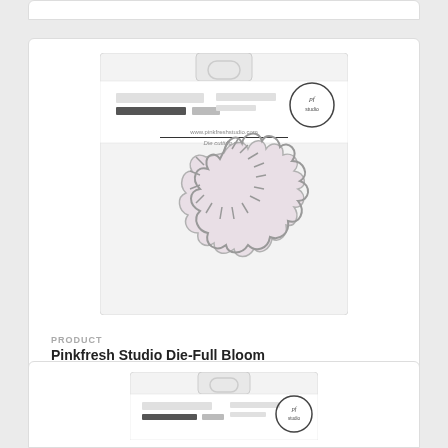[Figure (photo): Product packaging image of Pinkfresh Studio Die-Full Bloom, showing a metal die cut in the shape of a large bloom/flower with spiky petals, in a clear plastic package with white header card and brand logo.]
PRODUCT
Pinkfresh Studio Die-Full Bloom
$15.99
[Figure (photo): Partial view of a second product card at the bottom of the page, showing the top portion of another Pinkfresh Studio product package.]